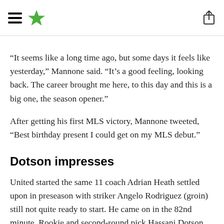[MLS article page header with hamburger menu, star logo, and share icon]
“It seems like a long time ago, but some days it feels like yesterday,” Mannone said. “It’s a good feeling, looking back. The career brought me here, to this day and this is a big one, the season opener.”
After getting his first MLS victory, Mannone tweeted, “Best birthday present I could get on my MLS debut.”
Dotson impresses
United started the same 11 coach Adrian Heath settled upon in preseason with striker Angelo Rodriguez (groin) still not quite ready to start. He came on in the 82nd minute. Rookie and second-round pick Hassani Dotson entered in second-half injury time, be                                                            round
to play f